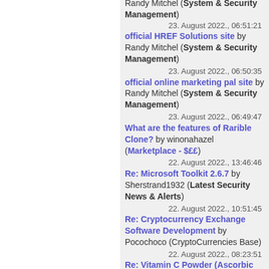Randy Mitchel (System & Security Management) 23. August 2022., 06:51:21 official HREF Solutions site by Randy Mitchel (System & Security Management)
23. August 2022., 06:50:35 official online marketing pal site by Randy Mitchel (System & Security Management)
23. August 2022., 06:49:47 What are the features of Rarible Clone? by winonahazel (Marketplace - $££)
22. August 2022., 13:46:46 Re: Microsoft Toolkit 2.6.7 by Sherstrand1932 (Latest Security News & Alerts)
22. August 2022., 10:51:45 Re: Cryptocurrency Exchange Software Development by Pocochoco (CryptoCurrencies Base)
22. August 2022., 08:23:51 Re: Vitamin C Powder (Ascorbic Acid) available for sell at 10% Discount! by Austin Robson (Promotions, Giveaways & Contests)
22. August 2022., 05:31:45 PROBLEMS CONNECTING GOOGLE MAIL AND MS